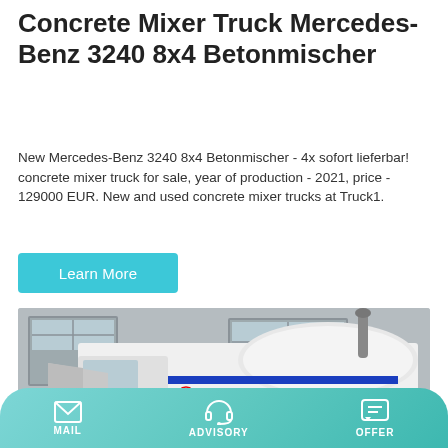Concrete Mixer Truck Mercedes-Benz 3240 8x4 Betonmischer
New Mercedes-Benz 3240 8x4 Betonmischer - 4x sofort lieferbar! concrete mixer truck for sale, year of production - 2021, price - 129000 EUR. New and used concrete mixer trucks at Truck1.
Learn More
[Figure (photo): Photo of a white concrete mixer truck with blue stripe livery, parked in front of an industrial building with roller doors. The truck features a cylindrical drum, exhaust stack, and loading hopper.]
MAIL   ADVISORY   OFFER